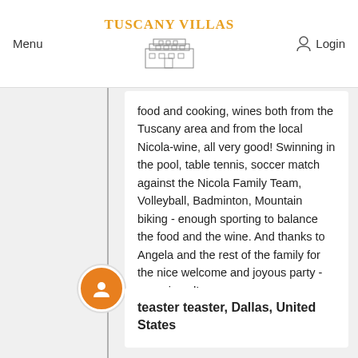Menu | TUSCANY VILLAS | Login
food and cooking, wines both from the Tuscany area and from the local Nicola-wine, all very good! Swinning in the pool, table tennis, soccer match against the Nicola Family Team, Volleyball, Badminton, Mountain biking - enough sporting to balance the food and the wine. And thanks to Angela and the rest of the family for the nice welcome and joyous party - we enjoyed!
19 July 2008
teaster teaster, Dallas, United States